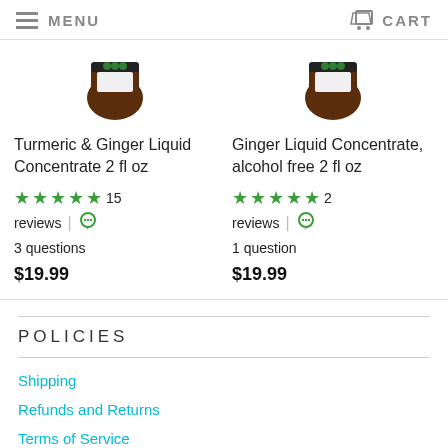MENU  CART
[Figure (photo): Turmeric & Ginger Liquid Concentrate 2 fl oz product bottle]
Turmeric & Ginger Liquid Concentrate 2 fl oz
★★★★★ 15 reviews | 3 questions
$19.99
[Figure (photo): Ginger Liquid Concentrate, alcohol free 2 fl oz product bottle]
Ginger Liquid Concentrate, alcohol free 2 fl oz
★★★★★ 2 reviews | 1 question
$19.99
POLICIES
Shipping
Refunds and Returns
Terms of Service